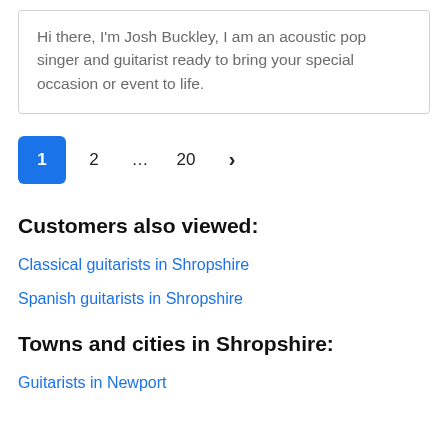Hi there, I'm Josh Buckley, I am an acoustic pop singer and guitarist ready to bring your special occasion or event to life.
1  2  …  20  ›
Customers also viewed:
Classical guitarists in Shropshire
Spanish guitarists in Shropshire
Towns and cities in Shropshire:
Guitarists in Newport